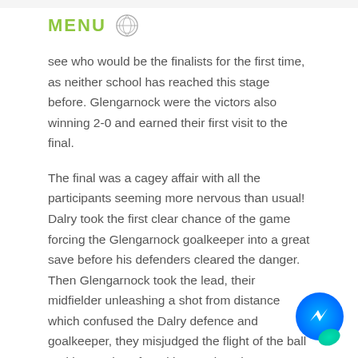MENU
see who would be the finalists for the first time, as neither school has reached this stage before. Glengarnock were the victors also winning 2-0 and earned their first visit to the final.
The final was a cagey affair with all the participants seeming more nervous than usual! Dalry took the first clear chance of the game forcing the Glengarnock goalkeeper into a great save before his defenders cleared the danger. Then Glengarnock took the lead, their midfielder unleashing a shot from distance which confused the Dalry defence and goalkeeper, they misjudged the flight of the ball and it somehow found its way into the net. 1-0 Glengarnock. Dalry tried to force their way back into the game,
[Figure (logo): Facebook Messenger chat bubble icon, blue and teal gradient]